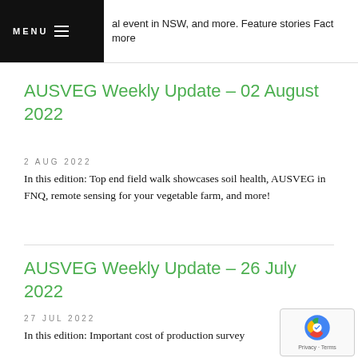al event in NSW, and more. Feature stories Fact more
AUSVEG Weekly Update – 02 August 2022
2 AUG 2022
In this edition: Top end field walk showcases soil health, AUSVEG in FNQ, remote sensing for your vegetable farm, and more!
AUSVEG Weekly Update – 26 July 2022
27 JUL 2022
In this edition: Important cost of production survey